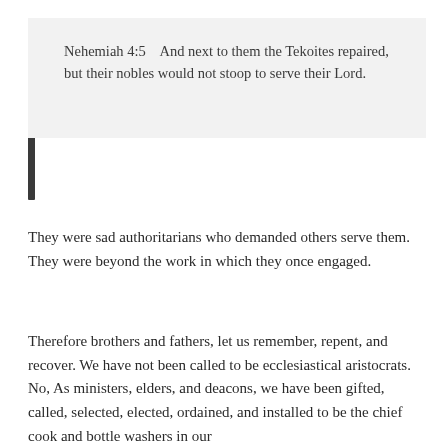Nehemiah 4:5    And next to them the Tekoites repaired, but their nobles would not stoop to serve their Lord.
They were sad authoritarians who demanded others serve them. They were beyond the work in which they once engaged.
Therefore brothers and fathers, let us remember, repent, and recover. We have not been called to be ecclesiastical aristocrats. No, As ministers, elders, and deacons, we have been gifted, called, selected, elected, ordained, and installed to be the chief cook and bottle washers in our